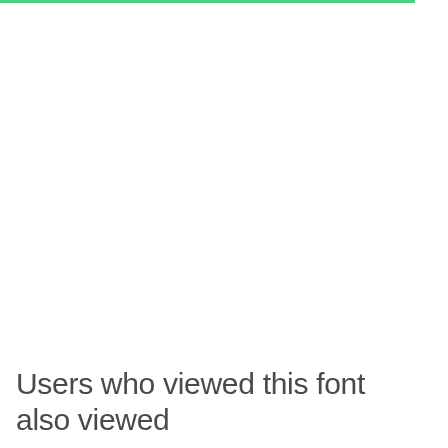[Figure (other): Dark circular close button with letter X in white on white background area]
Users who viewed this font also viewed